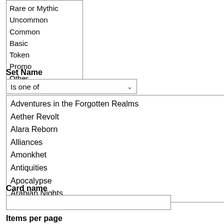Rare or Mythic
Uncommon
Common
Basic
Token
Promo
Other
Set Name
Is one of
Adventures in the Forgotten Realms
Aether Revolt
Alara Reborn
Alliances
Amonkhet
Antiquities
Apocalypse
Arabian Nights
Card name
Items per page